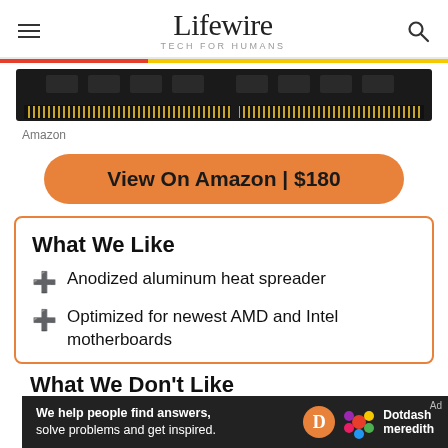Lifewire TECH FOR HUMANS
[Figure (photo): A RAM memory stick/module with gold contacts on a dark PCB, shown from the side]
Amazon
View On Amazon | $180
What We Like
Anodized aluminum heat spreader
Optimized for newest AMD and Intel motherboards
What We Don't Like
[Figure (logo): Dotdash Meredith ad banner at bottom of page]